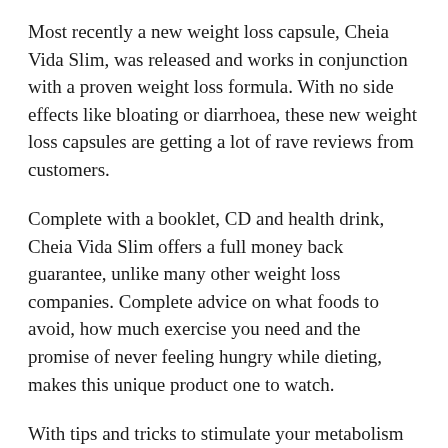Most recently a new weight loss capsule, Cheia Vida Slim, was released and works in conjunction with a proven weight loss formula. With no side effects like bloating or diarrhoea, these new weight loss capsules are getting a lot of rave reviews from customers.
Complete with a booklet, CD and health drink, Cheia Vida Slim offers a full money back guarantee, unlike many other weight loss companies. Complete advice on what foods to avoid, how much exercise you need and the promise of never feeling hungry while dieting, makes this unique product one to watch.
With tips and tricks to stimulate your metabolism and burn an extra 500 calories a day naturally, thousands of people are now taking their 10 Day Slim Down Challenge and getting amazing results.